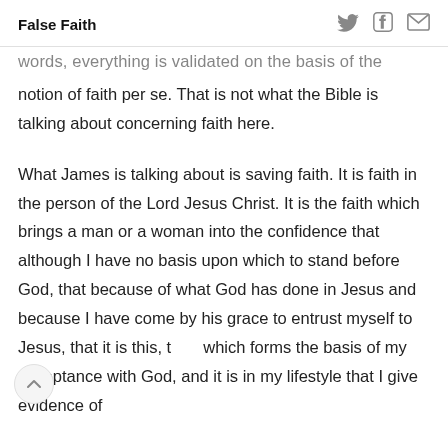False Faith
…words, everything is validated on the basis of the notion of faith per se. That is not what the Bible is talking about concerning faith here.
What James is talking about is saving faith. It is faith in the person of the Lord Jesus Christ. It is the faith which brings a man or a woman into the confidence that although I have no basis upon which to stand before God, that because of what God has done in Jesus and because I have come by his grace to entrust myself to Jesus, that it is this, t which forms the basis of my acceptance with God, and it is in my lifestyle that I give evidence of